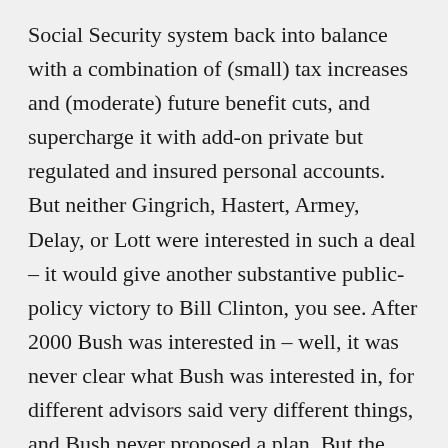Social Security system back into balance with a combination of (small) tax increases and (moderate) future benefit cuts, and supercharge it with add-on private but regulated and insured personal accounts. But neither Gingrich, Hastert, Armey, Delay, or Lott were interested in such a deal – it would give another substantive public-policy victory to Bill Clinton, you see. After 2000 Bush was interested in – well, it was never clear what Bush was interested in, for different advisors said very different things, and Bush never proposed a plan. But the deal that was there to be struck in